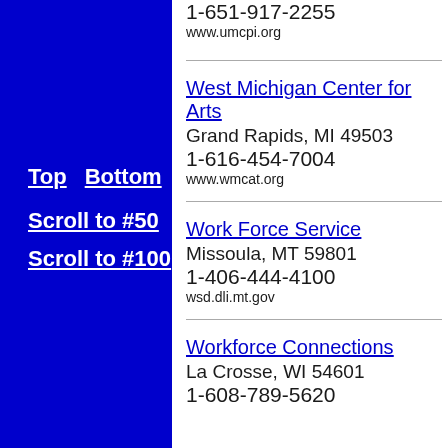1-651-917-2255
www.umcpi.org
Top  Bottom
Scroll to #50
Scroll to #100
West Michigan Center for Arts
Grand Rapids, MI 49503
1-616-454-7004
www.wmcat.org
Work Force Service
Missoula, MT 59801
1-406-444-4100
wsd.dli.mt.gov
Workforce Connections
La Crosse, WI 54601
1-608-789-5620